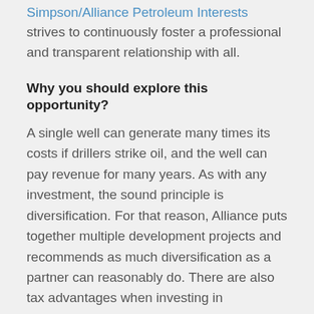Simpson/Alliance Petroleum Interests strives to continuously foster a professional and transparent relationship with all.
Why you should explore this opportunity?
A single well can generate many times its costs if drillers strike oil, and the well can pay revenue for many years. As with any investment, the sound principle is diversification. For that reason, Alliance puts together multiple development projects and recommends as much diversification as a partner can reasonably do. There are also tax advantages when investing in